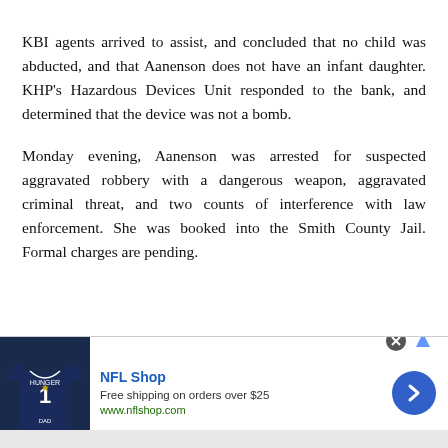KBI agents arrived to assist, and concluded that no child was abducted, and that Aanenson does not have an infant daughter. KHP's Hazardous Devices Unit responded to the bank, and determined that the device was not a bomb.
Monday evening, Aanenson was arrested for suspected aggravated robbery with a dangerous weapon, aggravated criminal threat, and two counts of interference with law enforcement. She was booked into the Smith County Jail. Formal charges are pending.
[Figure (other): NFL Shop advertisement banner with a Dallas Cowboys jersey image, text 'NFL Shop', 'Free shipping on orders over $25', 'www.nflshop.com', and a blue forward arrow button.]